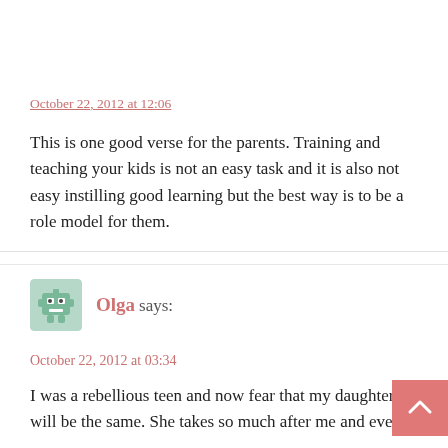October 22, 2012 at 12:06
This is one good verse for the parents. Training and teaching your kids is not an easy task and it is also not easy instilling good learning but the best way is to be a role model for them.
Reply
Olga says:
October 22, 2012 at 03:34
I was a rebellious teen and now fear that my daughter will be the same. She takes so much after me and even